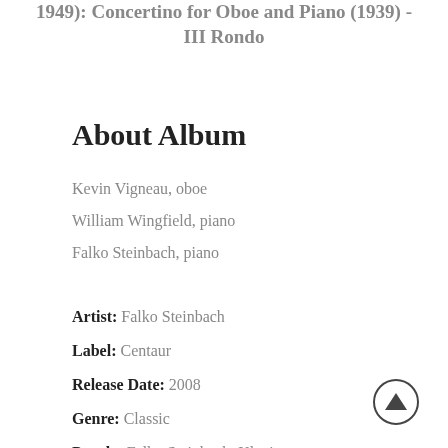1949): Concertino for Oboe and Piano (1939) - III Rondo
About Album
Kevin Vigneau, oboe
William Wingfield, piano
Falko Steinbach, piano
Artist: Falko Steinbach
Label: Centaur
Release Date: 2008
Genre: Classic
People: Falko Steinbach, Klavier